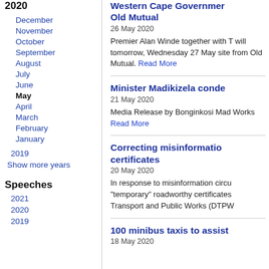2020
December
November
October
September
August
July
June
May
April
March
February
January
2019
Show more years
Speeches
2021
2020
2019
Western Cape Government Old Mutual
26 May 2020
Premier Alan Winde together with T will tomorrow, Wednesday 27 May site from Old Mutual. Read More
Minister Madikizela conde
21 May 2020
Media Release by Bonginkosi Mad Works Read More
Correcting misinformatio certificates
20 May 2020
In response to misinformation circu "temporary" roadworthy certificates Transport and Public Works (DTPW
100 minibus taxis to assist
18 May 2020